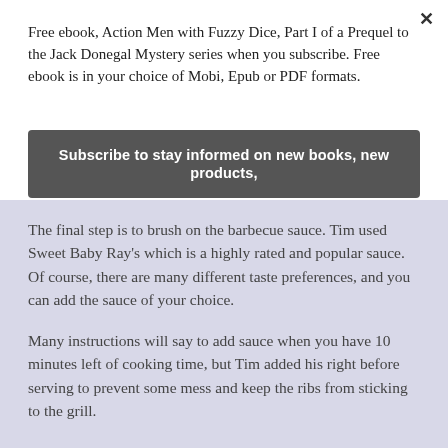Free ebook, Action Men with Fuzzy Dice, Part I of a Prequel to the Jack Donegal Mystery series when you subscribe. Free ebook is in your choice of Mobi, Epub or PDF formats.
Subscribe to stay informed on new books, new products,
The final step is to brush on the barbecue sauce. Tim used Sweet Baby Ray's which is a highly rated and popular sauce. Of course, there are many different taste preferences, and you can add the sauce of your choice.
Many instructions will say to add sauce when you have 10 minutes left of cooking time, but Tim added his right before serving to prevent some mess and keep the ribs from sticking to the grill.